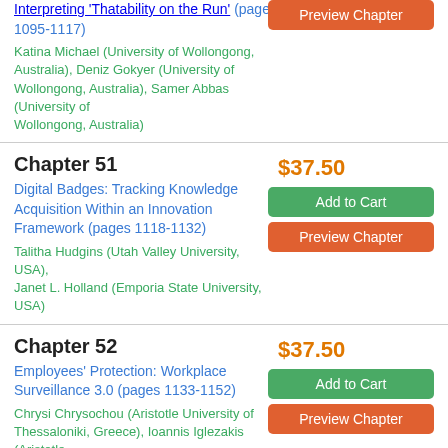Interpreting 'Thatability on the Run' (pages 1095-1117)
Katina Michael (University of Wollongong, Australia), Deniz Gokyer (University of Wollongong, Australia), Samer Abbas (University of Wollongong, Australia)
Chapter 51
$37.50
Digital Badges: Tracking Knowledge Acquisition Within an Innovation Framework (pages 1118-1132)
Talitha Hudgins (Utah Valley University, USA), Janet L. Holland (Emporia State University, USA)
Chapter 52
$37.50
Employees' Protection: Workplace Surveillance 3.0 (pages 1133-1152)
Chrysi Chrysochou (Aristotle University of Thessaloniki, Greece), Ioannis Iglezakis (Aristotle University of Thessaloniki, Greece)
Chapter 53
$37.50